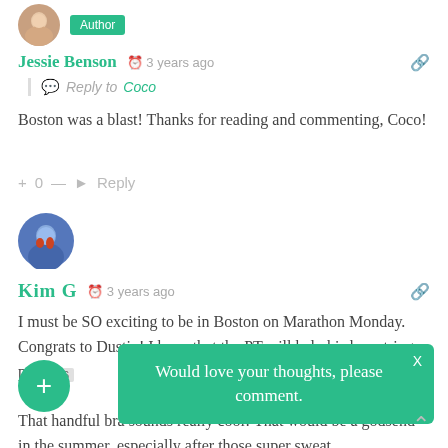[Figure (photo): Small circular avatar photo of a woman (Jessie Benson) with an 'Author' badge in teal]
Jessie Benson   3 years ago
Reply to Coco
Boston was a blast! Thanks for reading and commenting, Coco!
+ 0 — Reply
[Figure (photo): Small circular avatar photo of Kim G]
Kim G   3 years ago
I must be SO exciting to be in Boston on Marathon Monday. Congrats to Dustin! I hope that the PT will help his hamstring pain.

That handful bra sounds really cool! That would be a godsend in the summer, especially after those super sweat...
Would love your thoughts, please comment.